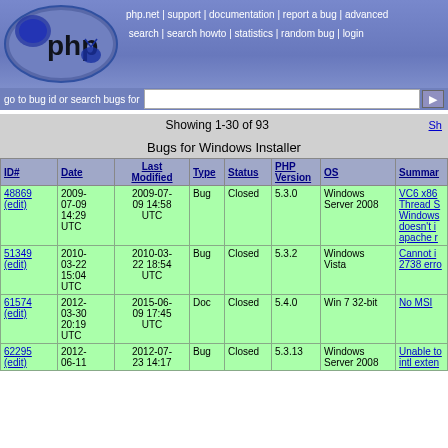[Figure (logo): PHP bug tracker logo with PHP elephant and ellipse background]
php.net | support | documentation | report a bug | advanced search | search howto | statistics | random bug | login
go to bug id or search bugs for [search box]
Showing 1-30 of 93
Bugs for Windows Installer
| ID# | Date | Last Modified | Type | Status | PHP Version | OS | Summary |
| --- | --- | --- | --- | --- | --- | --- | --- |
| 48869 (edit) | 2009-07-09 14:29 UTC | 2009-07-09 14:58 UTC | Bug | Closed | 5.3.0 | Windows Server 2008 | VC6 x86 Thread S Windows doesn't in apache r |
| 51349 (edit) | 2010-03-22 15:04 UTC | 2010-03-22 18:54 UTC | Bug | Closed | 5.3.2 | Windows Vista | Cannot i 2738 erro |
| 61574 (edit) | 2012-03-30 20:19 UTC | 2015-06-09 17:45 UTC | Doc | Closed | 5.4.0 | Win 7 32-bit | No MSI |
| 62295 (edit) | 2012-06-11 | 2012-07-23 14:17 | Bug | Closed | 5.3.13 | Windows Server 2008 | Unable to intl exten |